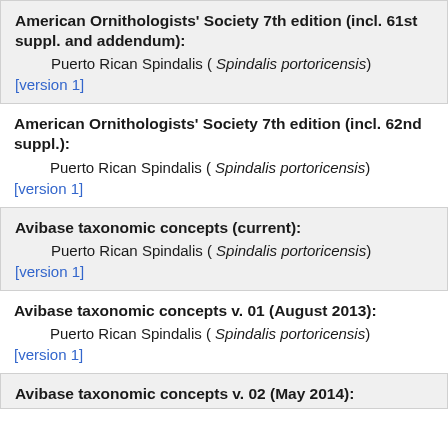American Ornithologists' Society 7th edition (incl. 61st suppl. and addendum):
Puerto Rican Spindalis ( Spindalis portoricensis)
[version 1]
American Ornithologists' Society 7th edition (incl. 62nd suppl.):
Puerto Rican Spindalis ( Spindalis portoricensis)
[version 1]
Avibase taxonomic concepts (current):
Puerto Rican Spindalis ( Spindalis portoricensis)
[version 1]
Avibase taxonomic concepts v. 01 (August 2013):
Puerto Rican Spindalis ( Spindalis portoricensis)
[version 1]
Avibase taxonomic concepts v. 02 (May 2014):